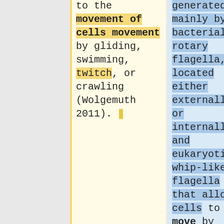to the movement of cells movement by gliding, swimming, twitch, or crawling (Wolgemuth 2011).
generated mainly by bacterial rotary flagella, located either externally or internally, and eukaryotic whip-like flagella that allow cells to move by gliding, swimming, twitching, or crawling (Wolgemuth